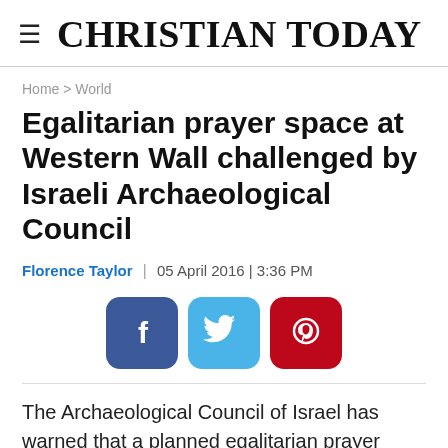CHRISTIAN TODAY
Home > World
Egalitarian prayer space at Western Wall challenged by Israeli Archaeological Council
Florence Taylor  |  05 April 2016 | 3:36 PM
[Figure (infographic): Social media share buttons: Facebook (blue), Twitter (light blue), Pinterest (red)]
The Archaeological Council of Israel has warned that a planned egalitarian prayer space at the Western Wall would cause major damage to the world